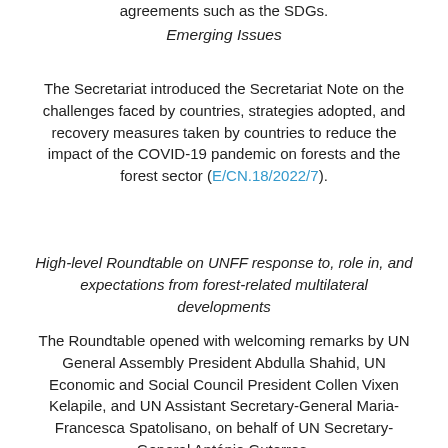agreements such as the SDGs.
Emerging Issues
The Secretariat introduced the Secretariat Note on the challenges faced by countries, strategies adopted, and recovery measures taken by countries to reduce the impact of the COVID-19 pandemic on forests and the forest sector (E/CN.18/2022/7).
High-level Roundtable on UNFF response to, role in, and expectations from forest-related multilateral developments
The Roundtable opened with welcoming remarks by UN General Assembly President Abdulla Shahid, UN Economic and Social Council President Collen Vixen Kelapile, and UN Assistant Secretary-General Maria-Francesca Spatolisano, on behalf of UN Secretary-General António Guterres.